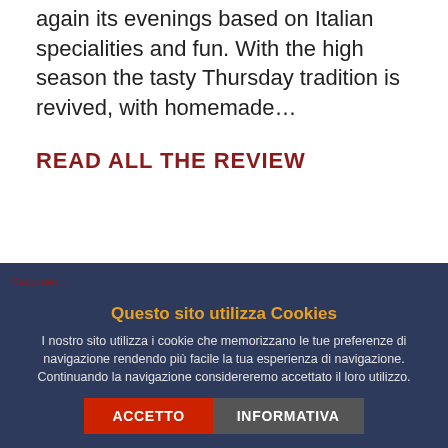again its evenings based on Italian specialities and fun. With the high season the tasty Thursday tradition is revived, with homemade...
READ ALL THE REVIEW
Questo sito utilizza Cookies
I nostro sito utilizza i cookie che memorizzano le tue preferenze di navigazione rendendo più facile la tua esperienza di navigazione. Continuando la navigazione considereremo accettato il loro utilizzo.
ACCETTO
INFORMATIVA